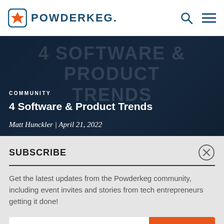POWDERKEG.
[Figure (screenshot): Hero image with dark navy background overlay and large faded text reading '4 SOFTWARE & PRODUCT TRENDS']
COMMUNITY
4 Software & Product Trends
Matt Hunckler | April 21, 2022
SUBSCRIBE
Get the latest updates from the Powderkeg community, including event invites and stories from tech entrepreneurs getting it done!
Enter Your Email  SIGN UP